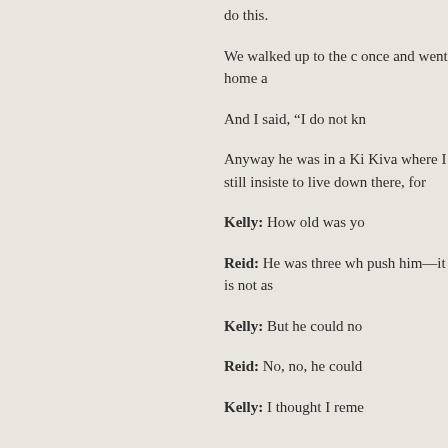do this.
We walked up to the c once and went home a
And I said, “I do not kn
Anyway he was in a Ki Kiva where I still insiste to live down there, for
Kelly: How old was yo
Reid: He was three wh push him—it is not as
Kelly: But he could no
Reid: No, no, he could
Kelly: I thought I reme